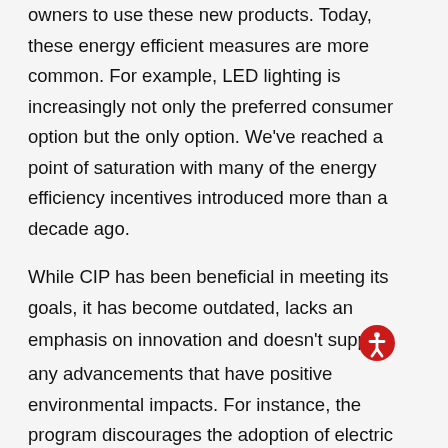owners to use these new products. Today, these energy efficient measures are more common. For example, LED lighting is increasingly not only the preferred consumer option but the only option. We've reached a point of saturation with many of the energy efficiency incentives introduced more than a decade ago.
While CIP has been beneficial in meeting its goals, it has become outdated, lacks an emphasis on innovation and doesn't support many advancements that have positive environmental impacts. For instance, the program discourages the adoption of electric vehicles (EVs) because they would increase the use of electricity, yet these vehicles significantly reduce carbon in the atmosphere. The transportation sector now emits more carbon than electric power generation. For every vehicle that is converted to electricity, it results in a net reduction in emissions, which is positive for the environment.